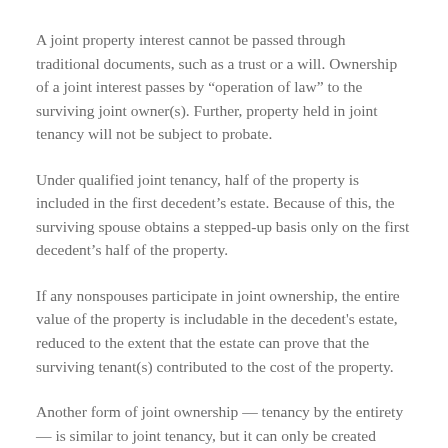A joint property interest cannot be passed through traditional documents, such as a trust or a will. Ownership of a joint interest passes by “operation of law” to the surviving joint owner(s). Further, property held in joint tenancy will not be subject to probate.
Under qualified joint tenancy, half of the property is included in the first decedent’s estate. Because of this, the surviving spouse obtains a stepped-up basis only on the first decedent’s half of the property.
If any nonspouses participate in joint ownership, the entire value of the property is includable in the decedent's estate, reduced to the extent that the estate can prove that the surviving tenant(s) contributed to the cost of the property.
Another form of joint ownership — tenancy by the entirety — is similar to joint tenancy, but it can only be created between husband and wife. Unlike joint tenancy, an interest cannot be transferred without